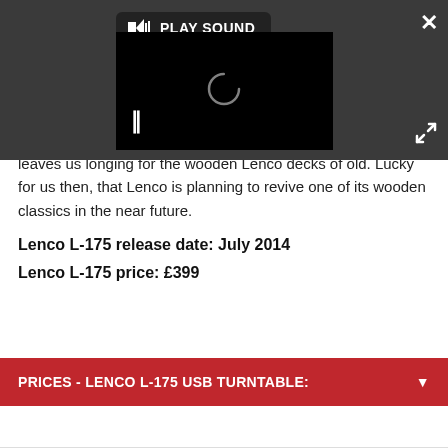[Figure (screenshot): Video player overlay with dark background, PLAY SOUND button, black video area with loading spinner, pause button, close (X) button, and expand/fullscreen button.]
leaves us longing for the wooden Lenco decks of old. Lucky for us then, that Lenco is planning to revive one of its wooden classics in the near future.
Lenco L-175 release date: July 2014
Lenco L-175 price: £399
PRICES - LENCO L-175 USB TURNTABLE: